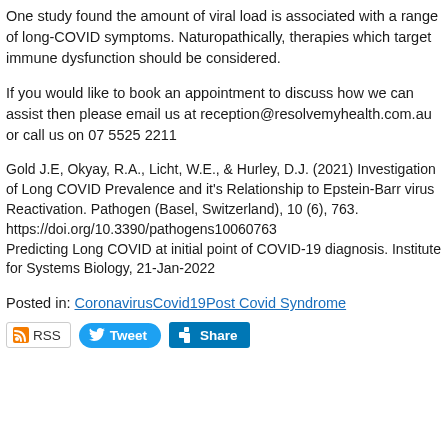One study found the amount of viral load is associated with a range of long-COVID symptoms. Naturopathically, therapies which target immune dysfunction should be considered.
If you would like to book an appointment to discuss how we can assist then please email us at reception@resolvemyhealth.com.au or call us on 07 5525 2211
Gold J.E, Okyay, R.A., Licht, W.E., & Hurley, D.J. (2021) Investigation of Long COVID Prevalence and it's Relationship to Epstein-Barr virus Reactivation. Pathogen (Basel, Switzerland), 10 (6), 763. https://doi.org/10.3390/pathogens10060763
Predicting Long COVID at initial point of COVID-19 diagnosis. Institute for Systems Biology, 21-Jan-2022
Posted in: Coronavirus Covid19 Post Covid Syndrome
[Figure (other): Social share buttons: RSS, Tweet (Twitter), Share (LinkedIn)]